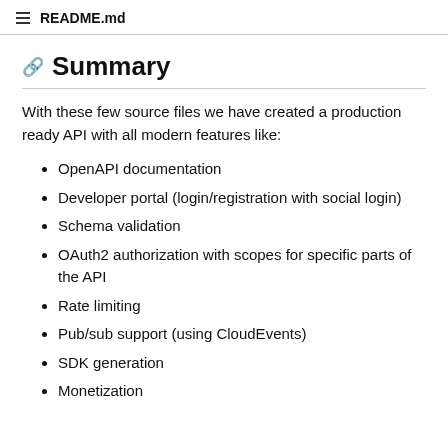README.md
Summary
With these few source files we have created a production ready API with all modern features like:
OpenAPI documentation
Developer portal (login/registration with social login)
Schema validation
OAuth2 authorization with scopes for specific parts of the API
Rate limiting
Pub/sub support (using CloudEvents)
SDK generation
Monetization